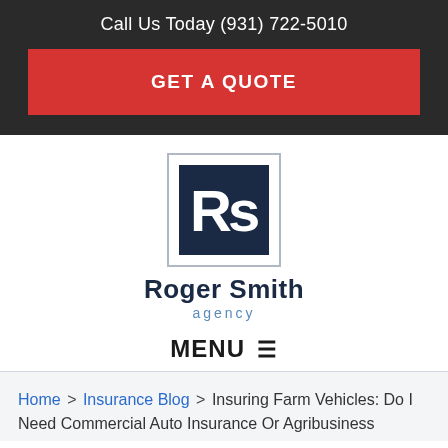Call Us Today (931) 722-5010
GET A QUOTE
[Figure (logo): Roger Smith Agency logo — dark navy square with white RS letters, with 'Roger Smith' in navy and 'agency' in blue below]
MENU ≡
Home > Insurance Blog > Insuring Farm Vehicles: Do I Need Commercial Auto Insurance Or Agribusiness